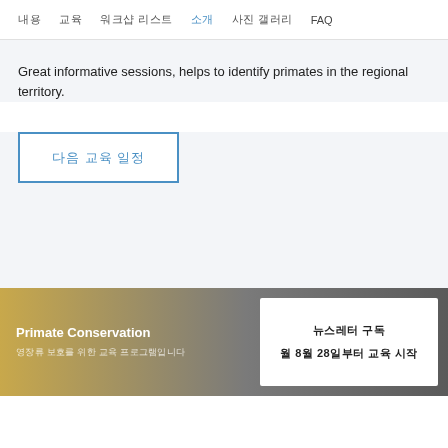내용 | 교육 | 워크숍 리스트 | 소개 | 사진 갤러리 | FAQ
Great informative sessions, helps to identify primates in the regional territory.
다음 교육 일정
Primate Conservation
영장류 보호를 위한 교육 프로그램입니다
뉴스레터 구독
월 8월 28일부터 교육 시작